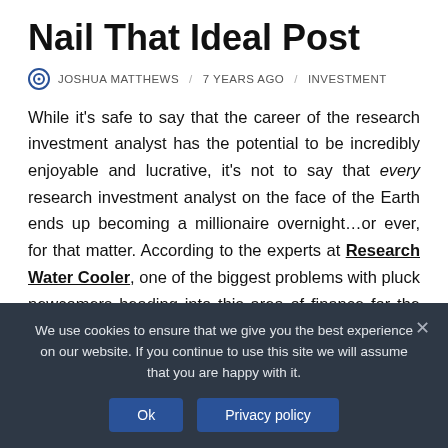Nail That Ideal Post
JOSHUA MATTHEWS / 7 YEARS AGO / INVESTMENT
While it's safe to say that the career of the research investment analyst has the potential to be incredibly enjoyable and lucrative, it's not to say that every research investment analyst on the face of the Earth ends up becoming a millionaire overnight…or ever, for that matter. According to the experts at Research Water Cooler, one of the biggest problems with pluck newcomers heading into this area of finance for the first time is the way in which so many have a tendency to expect way too much from
We use cookies to ensure that we give you the best experience on our website. If you continue to use this site we will assume that you are happy with it.